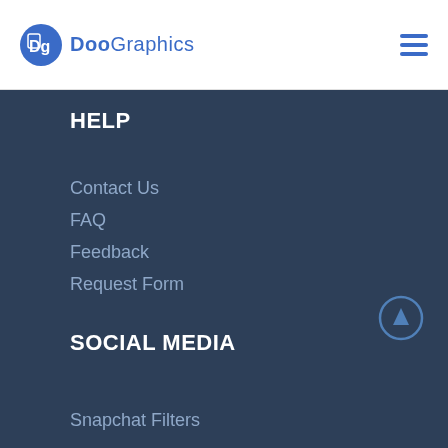DooGraphics
HELP
Contact Us
FAQ
Feedback
Request Form
SOCIAL MEDIA
Snapchat Filters